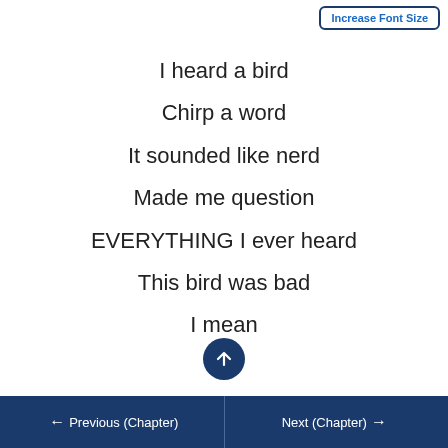Increase Font Size
I heard a bird
Chirp a word
It sounded like nerd
Made me question
EVERYTHING I ever heard
This bird was bad
I mean
← Previous (Chapter)    Next (Chapter) →